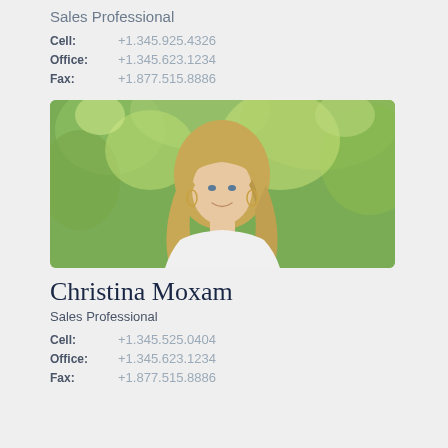Sales Professional
Cell: +1.345.925.4326
Office: +1.345.623.1234
Fax: +1.877.515.8886
[Figure (photo): Professional headshot of Christina Moxam, a woman with long blonde hair, smiling, with green foliage in the background]
Christina Moxam
Sales Professional
Cell: +1.345.525.0404
Office: +1.345.623.1234
Fax: +1.877.515.8886